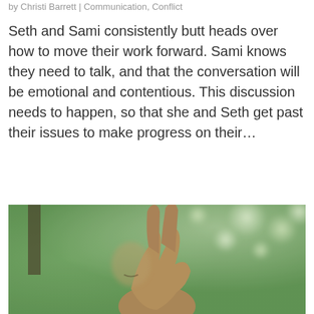by Christi Barrett | Communication, Conflict
Seth and Sami consistently butt heads over how to move their work forward. Sami knows they need to talk, and that the conversation will be emotional and contentious. This discussion needs to happen, so that she and Seth get past their issues to make progress on their…
[Figure (photo): A man with a mustache holding up a peace sign with his hand in front of a blurred green outdoor background]